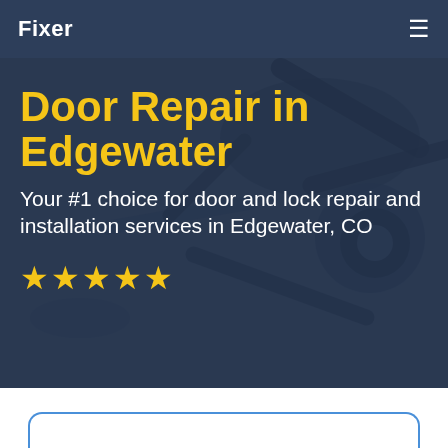Fixer
Door Repair in Edgewater
Your #1 choice for door and lock repair and installation services in Edgewater, CO
[Figure (other): Five gold star rating icons]
[Figure (screenshot): Background image of tools/hardware with dark blue overlay, hero section of a service website]